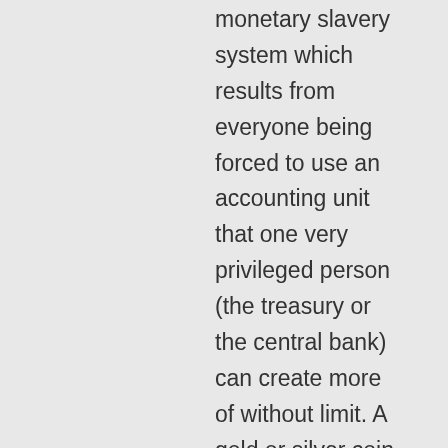monetary slavery system which results from everyone being forced to use an accounting unit that one very privileged person (the treasury or the central bank) can create more of without limit. A gold or silver coin standard with an open mint is the only way to prevent anyone from using the money system to enrich themselves at the expense of the working man. As the founder of the Gold Standard Society, I am not a disinterested on this question: https://goldstandard.io
Like
Prometeus on May 22, 2015 at 13:30